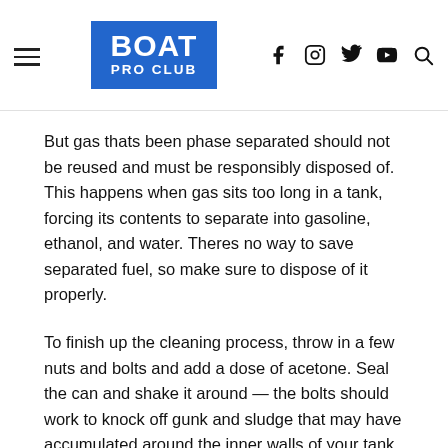BOAT PRO CLUB
But gas thats been phase separated should not be reused and must be responsibly disposed of. This happens when gas sits too long in a tank, forcing its contents to separate into gasoline, ethanol, and water. Theres no way to save separated fuel, so make sure to dispose of it properly.
To finish up the cleaning process, throw in a few nuts and bolts and add a dose of acetone. Seal the can and shake it around — the bolts should work to knock off gunk and sludge that may have accumulated around the inner walls of your tank.